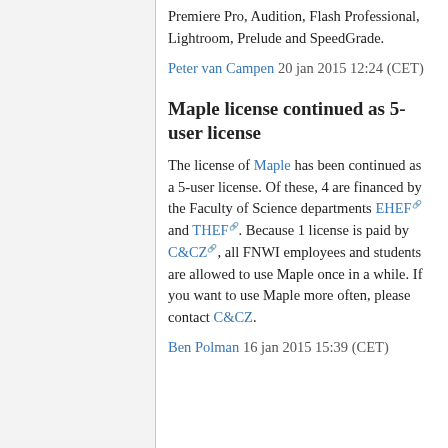Premiere Pro, Audition, Flash Professional, Lightroom, Prelude and SpeedGrade.
Peter van Campen 20 jan 2015 12:24 (CET)
Maple license continued as 5-user license
The license of Maple has been continued as a 5-user license. Of these, 4 are financed by the Faculty of Science departments EHEF and THEF. Because 1 license is paid by C&CZ, all FNWI employees and students are allowed to use Maple once in a while. If you want to use Maple more often, please contact C&CZ.
Ben Polman 16 jan 2015 15:39 (CET)